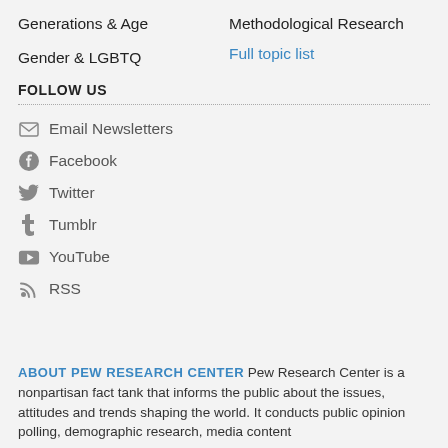Generations & Age
Methodological Research
Gender & LGBTQ
Full topic list
FOLLOW US
Email Newsletters
Facebook
Twitter
Tumblr
YouTube
RSS
ABOUT PEW RESEARCH CENTER Pew Research Center is a nonpartisan fact tank that informs the public about the issues, attitudes and trends shaping the world. It conducts public opinion polling, demographic research, media content